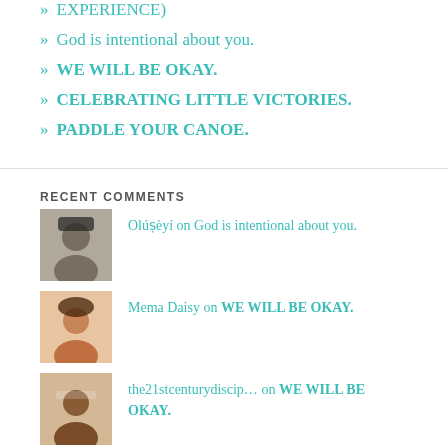» EXPERIENCE)
» God is intentional about you.
» WE WILL BE OKAY.
» CELEBRATING LITTLE VICTORIES.
» PADDLE YOUR CANOE.
RECENT COMMENTS
Olúṣèyí on God is intentional about you.
Mema Daisy on WE WILL BE OKAY.
the21stcenturydiscip… on WE WILL BE OKAY.
Mema Daisy on WE WILL BE OKAY.
the21stcenturydisc… on PADDLE YOUR